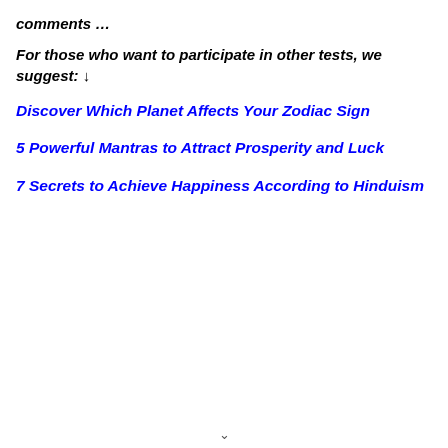comments …
For those who want to participate in other tests, we suggest: ↓
Discover Which Planet Affects Your Zodiac Sign
5 Powerful Mantras to Attract Prosperity and Luck
7 Secrets to Achieve Happiness According to Hinduism